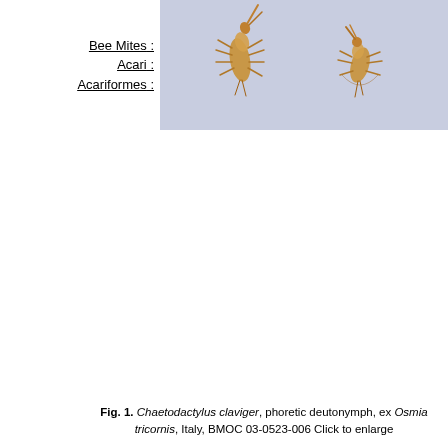Bee Mites : Acari : Acariformes :
[Figure (photo): Two phoretic deutonymphs of Chaetodactylus claviger on a light lavender/blue background, showing elongated yellowish-brown mite bodies with legs and appendages extended.]
Fig. 1. Chaetodactylus claviger, phoretic deutonymph, ex Osmia tricornis, Italy, BMOC 03-0523-006 Click to enlarge